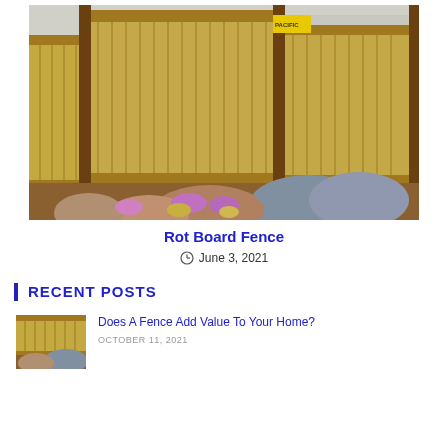[Figure (photo): A tall wooden fence with vertical boards and dark brown posts, viewed from outside. Purple and blue-grey shrubs are visible in the foreground. A yellow 'Pacific' logo sign is visible on one post. A white house is partially visible in the background.]
Rot Board Fence
June 3, 2021
RECENT POSTS
[Figure (photo): Small thumbnail image of a wooden fence]
Does A Fence Add Value To Your Home?
OCTOBER 11, 2021